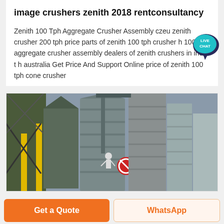image crushers zenith 2018 rentconsultancy
Zenith 100 Tph Aggregate Crusher Assembly czeu zenith crusher 200 tph price parts of zenith 100 tph crusher h 100 tph aggregate crusher assembly dealers of zenith crushers in india t h australia Get Price And Support Online price of zenith 100 tph cone crusher
[Figure (photo): Industrial aggregate crusher assembly facility with large cylindrical silos and metal structures. A worker is visible near the equipment.]
Get a Quote
WhatsApp